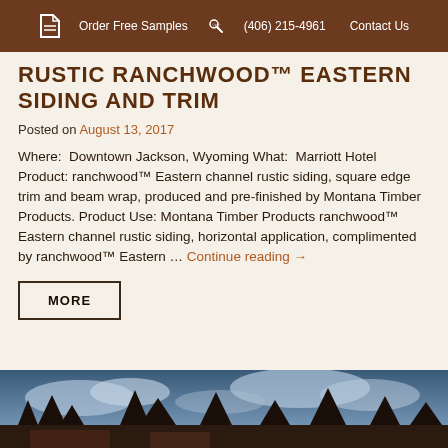Order Free Samples  (406) 215-4961  Contact Us
RUSTIC RANCHWOOD™ EASTERN SIDING AND TRIM
Posted on August 13, 2017
Where:  Downtown Jackson, Wyoming What:  Marriott Hotel Product: ranchwood™ Eastern channel rustic siding, square edge trim and beam wrap, produced and pre-finished by Montana Timber Products. Product Use: Montana Timber Products ranchwood™ Eastern channel rustic siding, horizontal application, complimented by ranchwood™ Eastern … Continue reading →
MORE
[Figure (photo): Outdoor sky and trees photo at the bottom of the page]